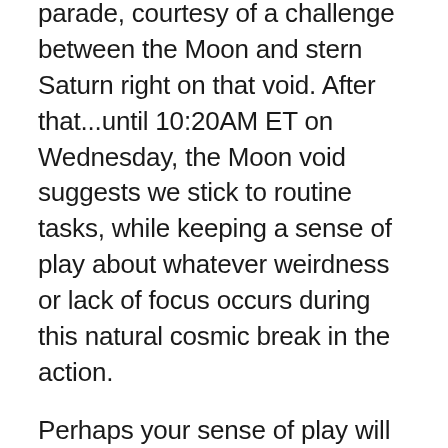parade, courtesy of a challenge between the Moon and stern Saturn right on that void. After that...until 10:20AM ET on Wednesday, the Moon void suggests we stick to routine tasks, while keeping a sense of play about whatever weirdness or lack of focus occurs during this natural cosmic break in the action.
Perhaps your sense of play will have an artsy or musical spin to it — or something healing, charitable or spiritual. Whatever it is, it's likely to reflect a need for a beautiful ideal, suggested by a cooperative connection between loving Venus (money, art, women, social expression) and soulful Neptune that will be exact Wednesday at 9:16AM. Can the stock markets get any higher?